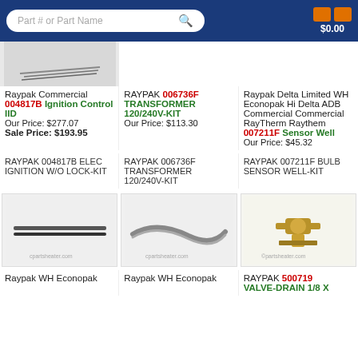Part # or Part Name | $0.00
[Figure (screenshot): Partial product image at top left (cut off) showing small metal parts]
Raypak Commercial 004817B Ignition Control IID
Our Price: $277.07
Sale Price: $193.95
RAYPAK 006736F TRANSFORMER 120/240V-KIT
Our Price: $113.30
Raypak Delta Limited WH Econopak Hi Delta ADB Commercial Commercial RayTherm Raythem 007211F Sensor Well
Our Price: $45.32
RAYPAK 004817B ELEC IGNITION W/O LOCK-KIT
RAYPAK 006736F TRANSFORMER 120/240V-KIT
RAYPAK 007211F BULB SENSOR WELL-KIT
[Figure (photo): Raypak WH Econopak part - thin metal rods/sensors on white background with cpartsheater.com watermark]
[Figure (photo): Raypak WH Econopak part - flexible metal hose/connector on white background with cpartsheater.com watermark]
[Figure (photo): RAYPAK 500719 brass drain valve fitting on white background]
Raypak WH Econopak
Raypak WH Econopak
RAYPAK 500719 VALVE-DRAIN 1/8 X